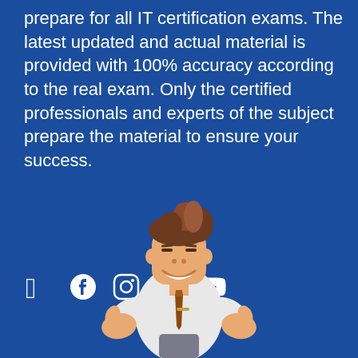prepare for all IT certification exams. The latest updated and actual material is provided with 100% accuracy according to the real exam. Only the certified professionals and experts of the subject prepare the material to ensure your success.
[Figure (illustration): Social media icons: Facebook, Instagram, Twitter, YouTube in white on blue background]
[Figure (illustration): Cartoon character of a smiling businessman in white shirt and brown tie giving thumbs up with both hands, with brown hair]